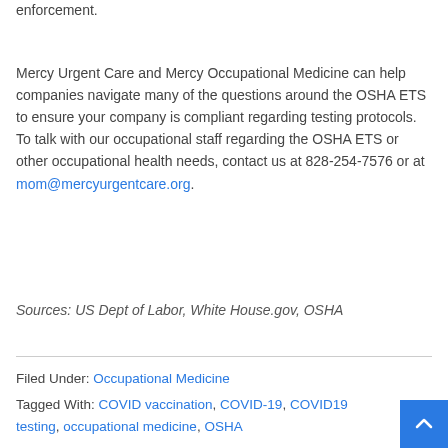enforcement.
Mercy Urgent Care and Mercy Occupational Medicine can help companies navigate many of the questions around the OSHA ETS to ensure your company is compliant regarding testing protocols. To talk with our occupational staff regarding the OSHA ETS or other occupational health needs, contact us at 828-254-7576 or at mom@mercyurgentcare.org.
Sources: US Dept of Labor, White House.gov, OSHA
Filed Under: Occupational Medicine
Tagged With: COVID vaccination, COVID-19, COVID19 testing, occupational medicine, OSHA